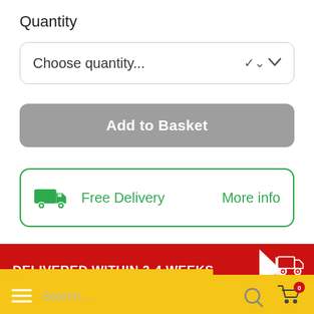Quantity
[Figure (screenshot): Dropdown selector showing 'Choose quantity...' with chevron arrow]
[Figure (infographic): Gray 'Add to Basket' button]
[Figure (infographic): Green-bordered box with truck icon, 'Free Delivery' text and 'More info' link]
[Figure (infographic): Red banner with white bold text 'DELIVERED WITHIN 3-4 WEEKS' and red truck icon with arrow]
[Figure (infographic): Yellow bottom navigation bar with hamburger menu, search bar, search icon, and shopping cart with badge showing 0]